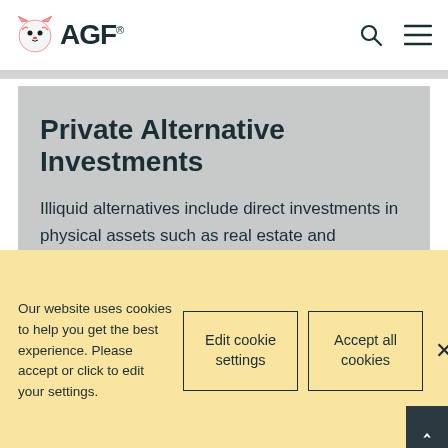AGF
Private Alternative Investments
Illiquid alternatives include direct investments in physical assets such as real estate and infrastructure as well as private equity and private debt. Access to these investments are generally available to institutions and accredited investors only due to the illiquidity of the
Our website uses cookies to help you get the best experience. Please accept or click to edit your settings.
Edit cookie settings
Accept all cookies